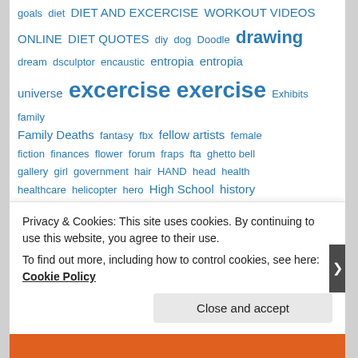goals diet DIET AND EXCERCISE WORKOUT VIDEOS ONLINE DIET QUOTES diy dog Doodle drawing dream dsculptor encaustic entropia entropia universe excercise exercise Exhibits family Family Deaths fantasy fbx fellow artists female fiction finances flower forum fraps fta ghetto bell gallery girl government hair HAND head health healthcare helicopter hero High School history holiday Holliday home business horse human Humor ideas illustration Image hosts imodeler injury ink inspirations interesting reading Introduction jeff jeffthomann jeff thomann jpg keyword keywords landscape law lawyers lightwave linux
Privacy & Cookies: This site uses cookies. By continuing to use this website, you agree to their use.
To find out more, including how to control cookies, see here: Cookie Policy